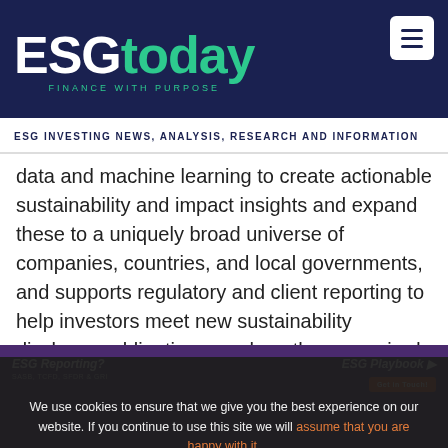[Figure (logo): ESGtoday logo with tagline FINANCE WITH PURPOSE on dark navy background]
ESG INVESTING NEWS, ANALYSIS, RESEARCH AND INFORMATION
data and machine learning to create actionable sustainability and impact insights and expand these to a uniquely broad universe of companies, countries, and local governments, and supports regulatory and client reporting to help investors meet new sustainability disclosure obligations, such as those required by SFDR and EU Taxonomy regulations.
[Figure (screenshot): Purple advertisement banner with ESG Reporting? and ESG Playbook sections]
We use cookies to ensure that we give you the best experience on our website. If you continue to use this site we will assume that you are happy with it.
BlackRock announced in January that it had invested in Clarity AI, and the firm has since integrated Clarity AI's